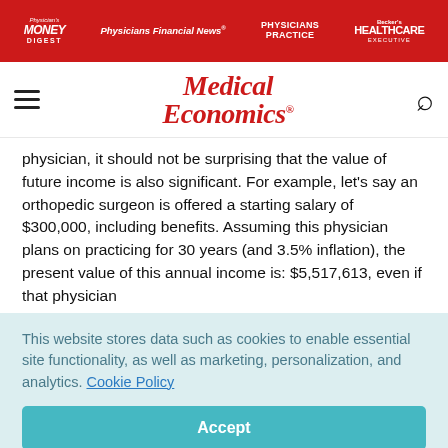Physician's Money Digest | Physicians Financial News | Physicians Practice | Becker's Healthcare Executive
[Figure (logo): Medical Economics logo in red italic serif font]
physician, it should not be surprising that the value of future income is also significant. For example, let's say an orthopedic surgeon is offered a starting salary of $300,000, including benefits. Assuming this physician plans on practicing for 30 years (and 3.5% inflation), the present value of this annual income is: $5,517,613, even if that physician
This website stores data such as cookies to enable essential site functionality, as well as marketing, personalization, and analytics. Cookie Policy
Accept
Deny